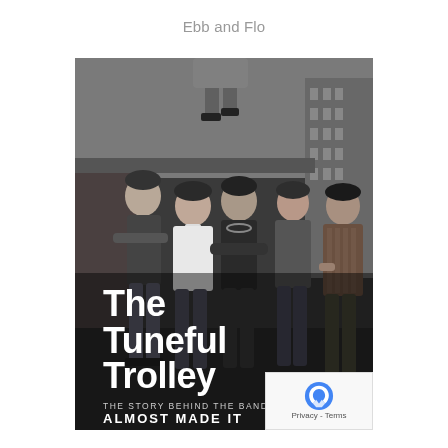Ebb and Flo
[Figure (photo): Black and white book cover photo showing five young men from a 1960s/70s band posing outdoors on a rooftop or terrace with buildings in the background. One person appears to be jumping or climbing above the group. Large white text overlays the lower portion of the image reading 'The Tuneful Trolley' with smaller text below reading 'THE STORY BEHIND THE BAND THAT ALMOST MADE IT'. A reCAPTCHA badge appears in the bottom right corner.]